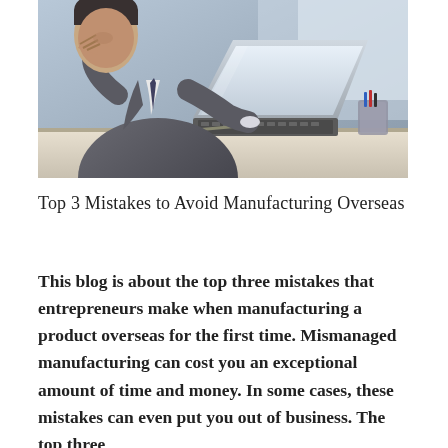[Figure (photo): A businessman in a grey suit leaning over a desk with his head resting on his hands, looking stressed, with an open laptop in front of him.]
Top 3 Mistakes to Avoid Manufacturing Overseas
This blog is about the top three mistakes that entrepreneurs make when manufacturing a product overseas for the first time. Mismanaged manufacturing can cost you an exceptional amount of time and money. In some cases, these mistakes can even put you out of business. The top three